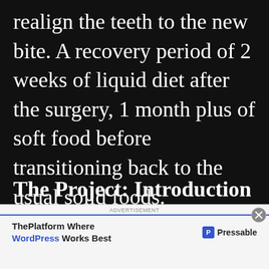realign the teeth to the new bite. A recovery period of 2 weeks of liquid diet after the surgery, 1 month plus of soft food before transitioning back to the usual solid foods.
The Project: Introduction
[Figure (other): Advertisement banner for Pressable WordPress hosting with close button]